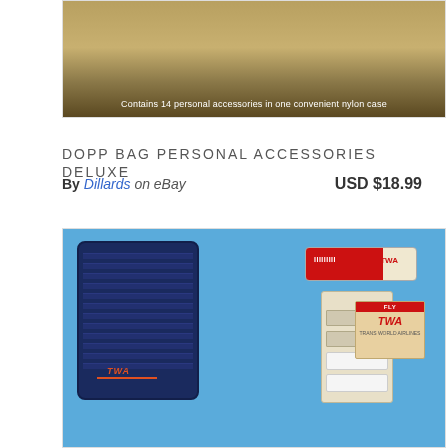[Figure (photo): Product photo of a Dopp bag personal accessories deluxe kit in packaging, showing a nylon case. Caption reads: Contains 14 personal accessories in one convenient nylon case]
DOPP BAG PERSONAL ACCESSORIES DELUXE
By Dillards on eBay    USD $18.99
[Figure (photo): Photo of TWA airline travel kit contents on blue background: navy blue ribbed zipper pouch with TWA logo and orange stripe, red toothpaste tube with TWA branding, razor kit packet with individual razor blades, and a FLY TWA matchbook/card]